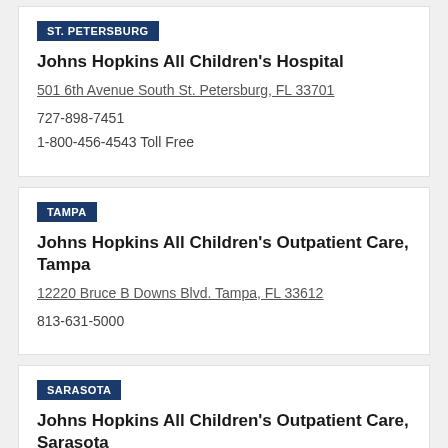ST. PETERSBURG
Johns Hopkins All Children's Hospital
501 6th Avenue South St. Petersburg, FL 33701
727-898-7451
1-800-456-4543 Toll Free
TAMPA
Johns Hopkins All Children's Outpatient Care, Tampa
12220 Bruce B Downs Blvd. Tampa, FL 33612
813-631-5000
SARASOTA
Johns Hopkins All Children's Outpatient Care, Sarasota